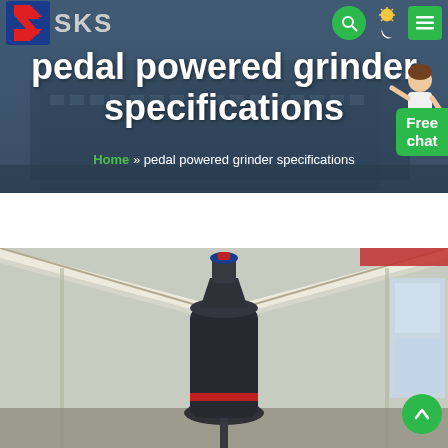[Figure (screenshot): SKS company website header with logo (red-blue S icon and SKS text), navigation icons (search button, theme toggle, menu button), hero banner showing industrial building in background, page title 'pedal powered grinder specifications', breadcrumb navigation, free chat widget with character illustration, and a photo of an industrial grinder machine inside a warehouse]
pedal powered grinder specifications
Home » pedal powered grinder specifications